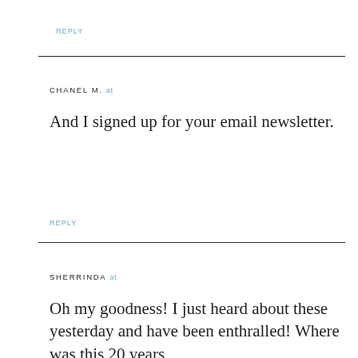REPLY
CHANEL M. at
And I signed up for your email newsletter.
REPLY
SHERRINDA at
Oh my goodness! I just heard about these yesterday and have been enthralled! Where was this 20 years